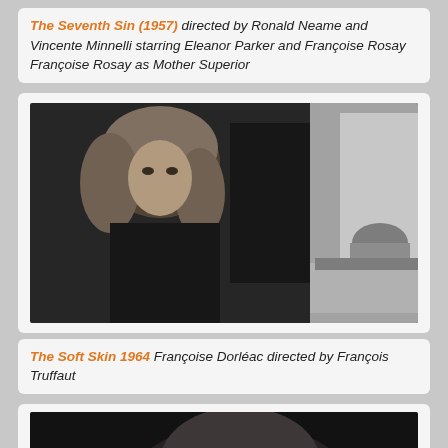The Seventh Sin (1957) directed by Ronald Neame and Vincente Minnelli starring Eleanor Parker and Françoise Rosay Françoise Rosay as Mother Superior
[Figure (photo): Black and white film still from The Soft Skin (1964). A woman with voluminous blonde hair and dark clothing stands in the foreground looking toward the camera. In the background, two men are visible — one standing in a dark suit, another seated at a desk.]
The Soft Skin 1964 Françoise Dorléac directed by François Truffaut
[Figure (photo): Black and white film still, partially visible at the bottom of the page. A close-up of a person's face, partially obscured.]